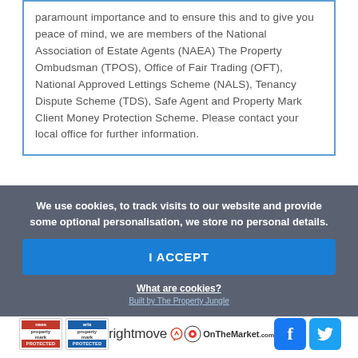paramount importance and to ensure this and to give you peace of mind, we are members of the National Association of Estate Agents (NAEA) The Property Ombudsman (TPOS), Office of Fair Trading (OFT), National Approved Lettings Scheme (NALS), Tenancy Dispute Scheme (TDS), Safe Agent and Property Mark Client Money Protection Scheme. Please contact your local office for further information.
We use cookies, to track visits to our website and provide some optional personalisation, we store no personal details.
I ACCEPT
What are cookies?
Built by The Property Jungle
[Figure (logo): NAEA Propertymark Protected badge]
[Figure (logo): ARLA Propertymark Protected badge]
[Figure (logo): Rightmove logo]
[Figure (logo): OnTheMarket.com logo]
[Figure (logo): Facebook and Twitter social media icons]